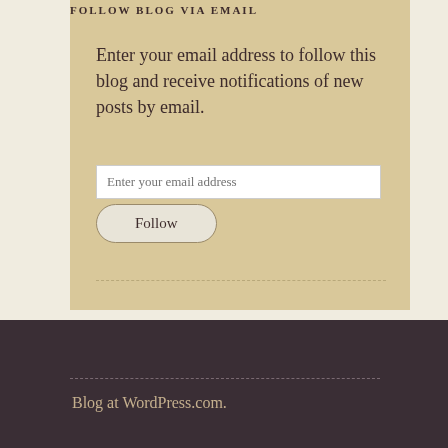FOLLOW BLOG VIA EMAIL
Enter your email address to follow this blog and receive notifications of new posts by email.
[Figure (screenshot): Email input field with placeholder text 'Enter your email address']
[Figure (screenshot): Follow button with rounded corners]
Blog at WordPress.com.